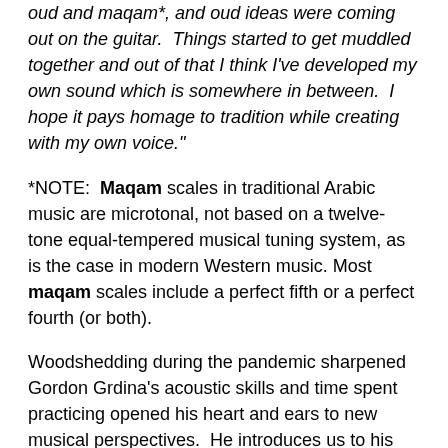oud and maqam*, and oud ideas were coming out on the guitar.  Things started to get muddled together and out of that I think I've developed my own sound which is somewhere in between.  I hope it pays homage to tradition while creating with my own voice."
*NOTE:  Maqam scales in traditional Arabic music are microtonal, not based on a twelve-tone equal-tempered musical tuning system, as is the case in modern Western music. Most maqam scales include a perfect fifth or a perfect fourth (or both).
Woodshedding during the pandemic sharpened Gordon Grdina's acoustic skills and time spent practicing opened his heart and ears to new musical perspectives.  He introduces us to his classical guitar in romantic ways and on track #2 with arpeggio bliss and a melody that